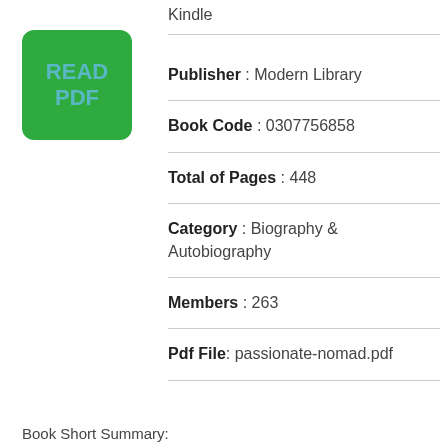[Figure (other): Green READ PDF button]
Kindle
Publisher : Modern Library
Book Code : 0307756858
Total of Pages : 448
Category : Biography & Autobiography
Members : 263
Pdf File: passionate-nomad.pdf
Book Short Summary: